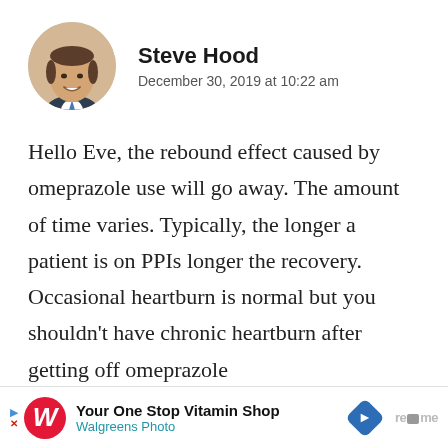[Figure (photo): Circular profile photo of Steve Hood, a smiling man in a suit]
Steve Hood
December 30, 2019 at 10:22 am
Hello Eve, the rebound effect caused by omeprazole use will go away. The amount of time varies. Typically, the longer a patient is on PPIs longer the recovery. Occasional heartburn is normal but you shouldn’t have chronic heartburn after getting off omeprazole
[Figure (advertisement): Walgreens ad: Your One Stop Vitamin Shop - Walgreens Photo]